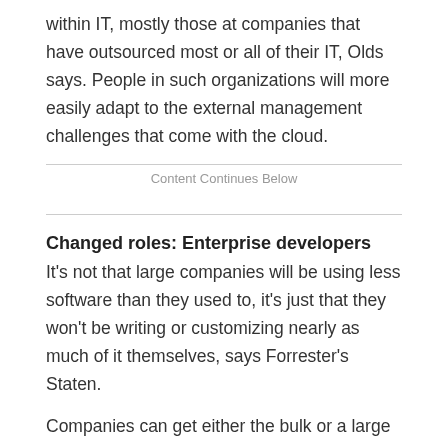within IT, mostly those at companies that have outsourced most or all of their IT, Olds says. People in such organizations will more easily adapt to the external management challenges that come with the cloud.
Content Continues Below
Changed roles: Enterprise developers
It's not that large companies will be using less software than they used to, it's just that they won't be writing or customizing nearly as much of it themselves, says Forrester's Staten.
Companies can get either the bulk or a large